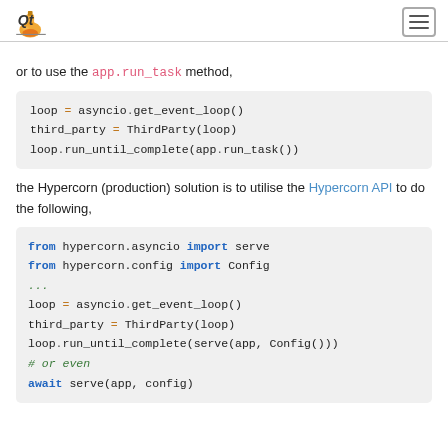Qt logo and hamburger menu
or to use the app.run_task method,
[Figure (screenshot): Code block: loop = asyncio.get_event_loop() / third_party = ThirdParty(loop) / loop.run_until_complete(app.run_task())]
the Hypercorn (production) solution is to utilise the Hypercorn API to do the following,
[Figure (screenshot): Code block: from hypercorn.asyncio import serve / from hypercorn.config import Config / ... / loop = asyncio.get_event_loop() / third_party = ThirdParty(loop) / loop.run_until_complete(serve(app, Config())) / # or even / await serve(app, config)]